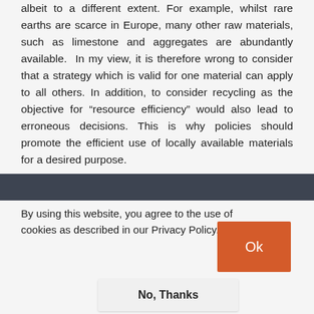albeit to a different extent. For example, whilst rare earths are scarce in Europe, many other raw materials, such as limestone and aggregates are abundantly available.  In my view, it is therefore wrong to consider that a strategy which is valid for one material can apply to all others. In addition, to consider recycling as the objective for “resource efficiency” would also lead to erroneous decisions. This is why policies should promote the efficient use of locally available materials for a desired purpose.
By using this website, you agree to the use of cookies as described in our Privacy Policy.
Ok
No, Thanks